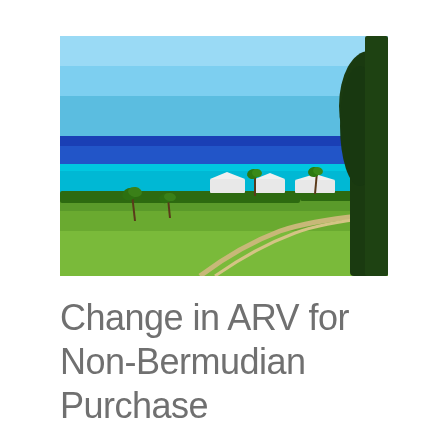[Figure (photo): Aerial/elevated view of a coastal golf course or green lawn in Bermuda. Turquoise and deep blue ocean water visible in the background, white-roofed structures near the shoreline, palm trees scattered around, and a large dark tree on the right side. Clear blue sky overhead.]
Change in ARV for Non-Bermudian Purchase